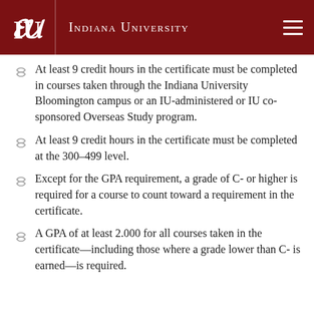Indiana University
At least 9 credit hours in the certificate must be completed in courses taken through the Indiana University Bloomington campus or an IU-administered or IU co-sponsored Overseas Study program.
At least 9 credit hours in the certificate must be completed at the 300–499 level.
Except for the GPA requirement, a grade of C- or higher is required for a course to count toward a requirement in the certificate.
A GPA of at least 2.000 for all courses taken in the certificate—including those where a grade lower than C- is earned—is required.